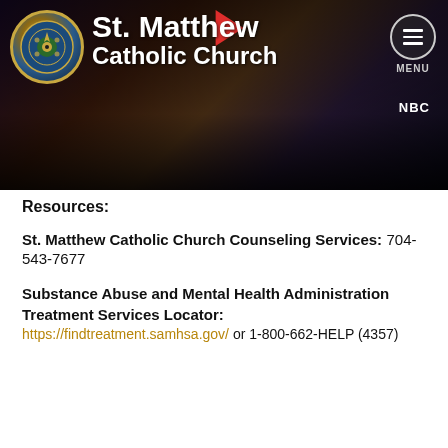[Figure (screenshot): St. Matthew Catholic Church website header with church seal logo, church name, menu button, and a dark video thumbnail background showing a woman with NBC logo visible]
Resources:
St. Matthew Catholic Church Counseling Services: 704-543-7677
Substance Abuse and Mental Health Administration Treatment Services Locator: https://findtreatment.samhsa.gov/ or 1-800-662-HELP (4357)